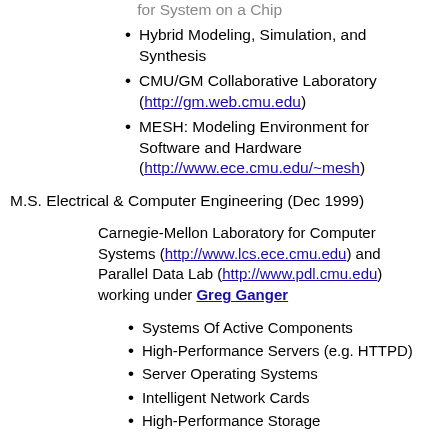for System on a Chip
Hybrid Modeling, Simulation, and Synthesis
CMU/GM Collaborative Laboratory (http://gm.web.cmu.edu)
MESH: Modeling Environment for Software and Hardware (http://www.ece.cmu.edu/~mesh)
M.S. Electrical & Computer Engineering (Dec 1999)
Carnegie-Mellon Laboratory for Computer Systems (http://www.lcs.ece.cmu.edu) and Parallel Data Lab (http://www.pdl.cmu.edu) working under Greg Ganger
Systems Of Active Components
High-Performance Servers (e.g. HTTPD)
Server Operating Systems
Intelligent Network Cards
High-Performance Storage